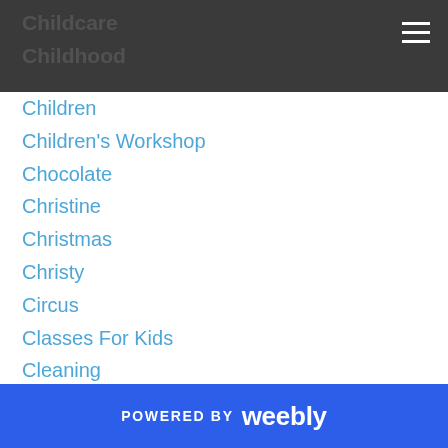Childcare
Childhood
Children
Children's Workshop
Chocolate
Christine
Christmas
Christy
Circus
Classes For Kids
Cleaning
Cleaning Supplies
Cloth Diapers
Clothes
CLOTHING SALES
Coach Pam
Coalition For Children
POWERED BY weebly